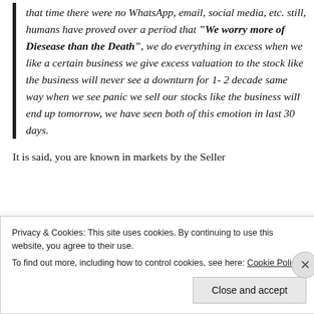that time there were no WhatsApp, email, social media, etc. still, humans have proved over a period that "We worry more of Diesease than the Death", we do everything in excess when we like a certain business we give excess valuation to the stock like the business will never see a downturn for 1- 2 decade same way when we see panic we sell our stocks like the business will end up tomorrow, we have seen both of this emotion in last 30 days.
It is said, you are known in markets by the Seller
Privacy & Cookies: This site uses cookies. By continuing to use this website, you agree to their use.
To find out more, including how to control cookies, see here: Cookie Policy